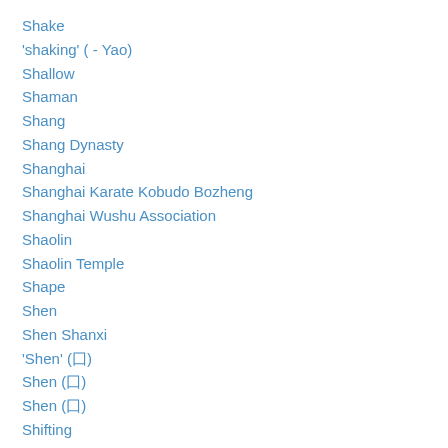Shake
'shaking' (   - Yao)
Shallow
Shaman
Shang
Shang Dynasty
Shanghai
Shanghai Karate Kobudo Bozheng
Shanghai Wushu Association
Shaolin
Shaolin Temple
Shape
Shen
Shen Shanxi
'Shen' (囗)
Shen (囗)
Shen (囗)
Shifting
Shifu
Shi Gong